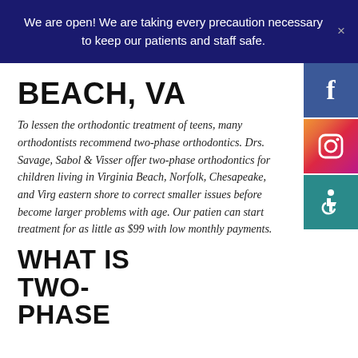We are open! We are taking every precaution necessary to keep our patients and staff safe.
BEACH, VA
To lessen the orthodontic treatment of teens, many orthodontists recommend two-phase orthodontics. Drs. Savage, Sabol & Visser offer two-phase orthodontics for children living in Virginia Beach, Norfolk, Chesapeake, and Virg eastern shore to correct smaller issues before become larger problems with age. Our patien can start treatment for as little as $99 with low monthly payments.
WHAT IS TWO-PHASE
[Figure (logo): Facebook logo icon — white F on blue background]
[Figure (logo): Instagram logo icon — camera icon on gradient background]
[Figure (logo): Accessibility icon — wheelchair symbol on teal background]